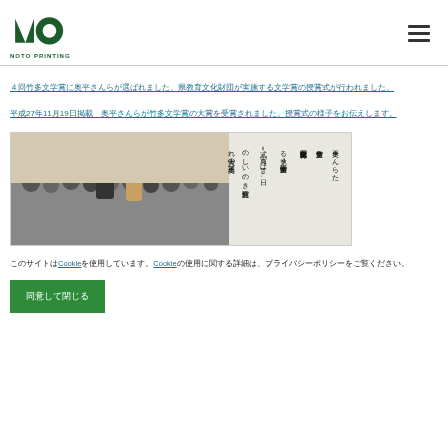NOTO PRINTING logo and hamburger menu
４回竹多文学賞に奥平さんら
平成27年11月19日掲載　奥平さんらが竹多文学賞大賞を受賞
[Figure (photo): Newspaper clipping showing award ceremony at 竹多文学賞 venue with attendees and text about 奥平 receiving 大賞]
このサイトはCookieを使用しています。Cookieの使用に関する詳細は、プライバシーポリシーをご覧ください。
同意して閉じる